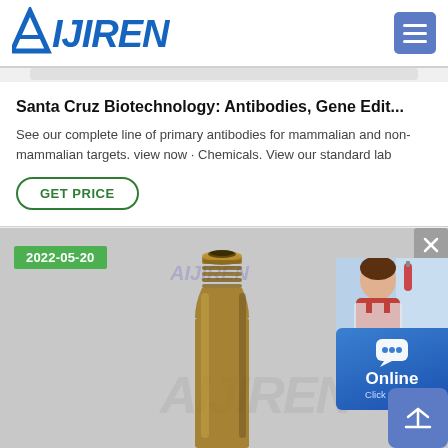AIJIREN
Santa Cruz Biotechnology: Antibodies, Gene Edit...
See our complete line of primary antibodies for mammalian and non-mammalian targets. view now · Chemicals. View our standard lab
GET PRICE
[Figure (photo): Product photo of an amber glass vial/bottle with threaded neck on gray background, dated 2022-05-20, with Aijiren watermark]
[Figure (photo): Online Click to Chat panel with photo of laboratory technician, chat bubble icon, blue background, close X button, and scroll-up arrow button]